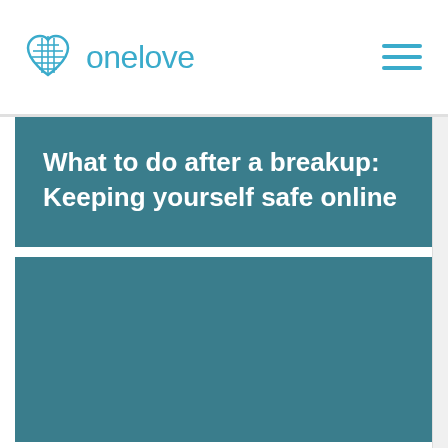onelove
What to do after a breakup: Keeping yourself safe online
[Figure (illustration): Teal/dark teal solid color image block below the title banner, representing a hero image area.]